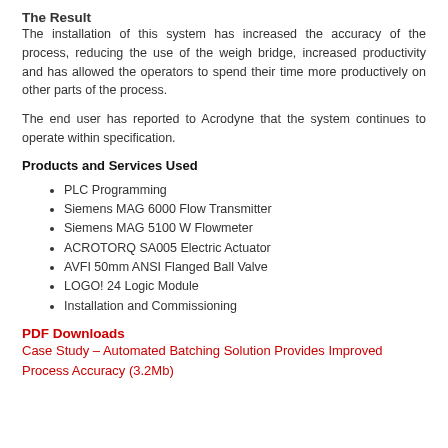The Result
The installation of this system has increased the accuracy of the process, reducing the use of the weigh bridge, increased productivity and has allowed the operators to spend their time more productively on other parts of the process.
The end user has reported to Acrodyne that the system continues to operate within specification.
Products and Services Used
PLC Programming
Siemens MAG 6000 Flow Transmitter
Siemens MAG 5100 W Flowmeter
ACROTORQ SA005 Electric Actuator
AVFI 50mm ANSI Flanged Ball Valve
LOGO! 24 Logic Module
Installation and Commissioning
PDF Downloads
Case Study – Automated Batching Solution Provides Improved Process Accuracy (3.2Mb)